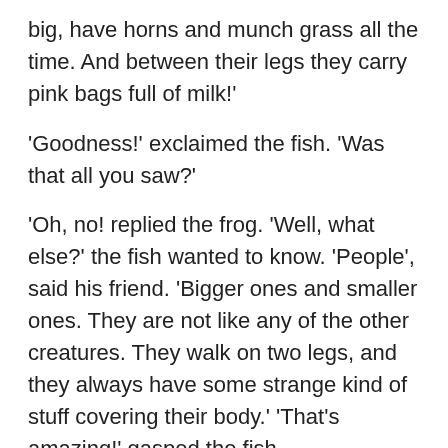big, have horns and munch grass all the time. And between their legs they carry pink bags full of milk!'
'Goodness!' exclaimed the fish. 'Was that all you saw?'
'Oh, no! replied the frog. 'Well, what else?' the fish wanted to know. 'People', said his friend. 'Bigger ones and smaller ones. They are not like any of the other creatures. They walk on two legs, and they always have some strange kind of stuff covering their body.' 'That's amazing!' gasped the fish. …
Later that night he just couldn't fall asleep for a long time. And when the fish finally did fall asleep he had the strangest dream. In his dream he saw